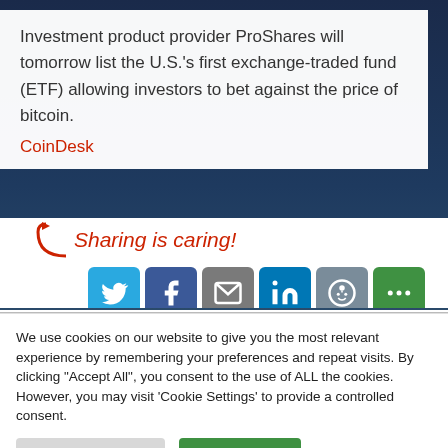Investment product provider ProShares will tomorrow list the U.S.'s first exchange-traded fund (ETF) allowing investors to bet against the price of bitcoin.
CoinDesk
[Figure (infographic): Sharing is caring! social media sharing icons: Twitter, Facebook, Email, LinkedIn, Reddit, More]
We use cookies on our website to give you the most relevant experience by remembering your preferences and repeat visits. By clicking "Accept All", you consent to the use of ALL the cookies. However, you may visit 'Cookie Settings' to provide a controlled consent.